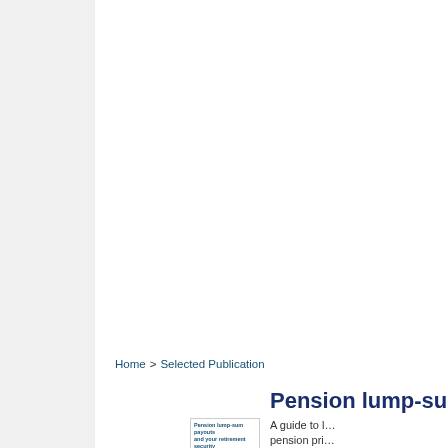Home > Selected Publication
Pension lump-su…
A guide to pension pri…